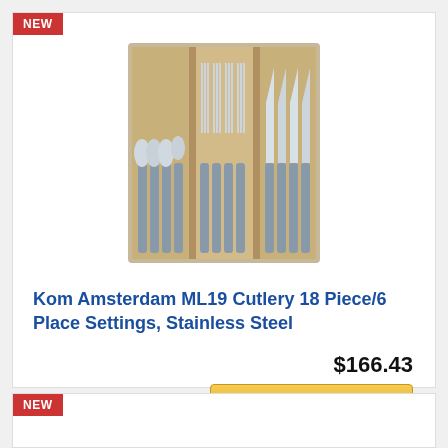[Figure (photo): Cutlery set in a wooden box with three compartments containing spoons, forks, and knives with grey handles]
Kom Amsterdam ML19 Cutlery 18 Piece/6 Place Settings, Stainless Steel
$166.43
Buy on Amazon